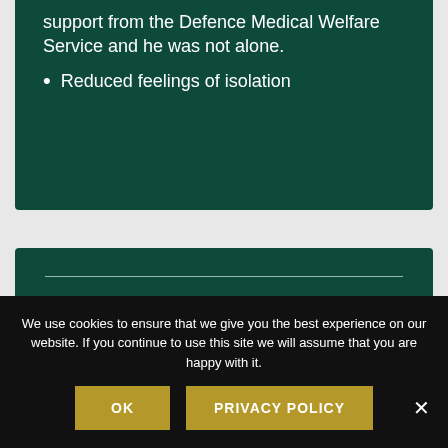support from the Defence Medical Welfare Service and he was not alone.
Reduced feelings of isolation
Success Stories
We use cookies to ensure that we give you the best experience on our website. If you continue to use this site we will assume that you are happy with it.
OK
PRIVACY POLICY